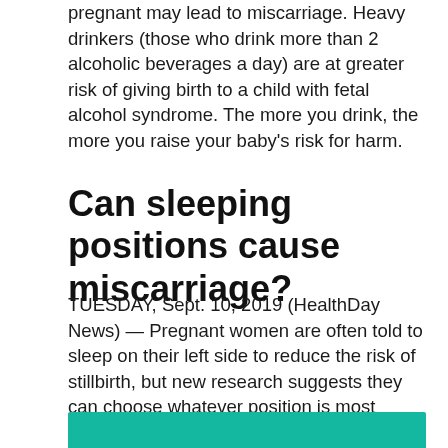pregnant may lead to miscarriage. Heavy drinkers (those who drink more than 2 alcoholic beverages a day) are at greater risk of giving birth to a child with fetal alcohol syndrome. The more you drink, the more you raise your baby's risk for harm.
Can sleeping positions cause miscarriage?
TUESDAY, Sept. 10, 2019 (HealthDay News) — Pregnant women are often told to sleep on their left side to reduce the risk of stillbirth, but new research suggests they can choose whatever position is most comfortable through most of the pregnancy.
[Figure (other): Teal/turquoise colored banner bar at the bottom of the page]